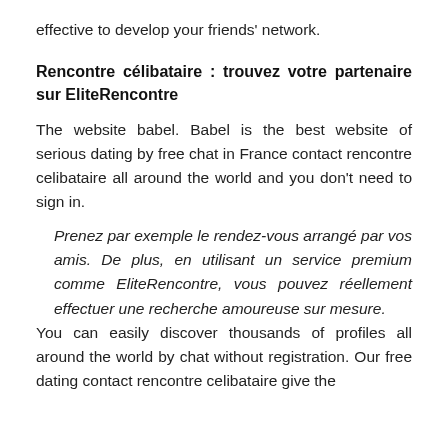effective to develop your friends' network.
Rencontre célibataire : trouvez votre partenaire sur EliteRencontre
The website babel. Babel is the best website of serious dating by free chat in France contact rencontre celibataire all around the world and you don't need to sign in.
Prenez par exemple le rendez-vous arrangé par vos amis. De plus, en utilisant un service premium comme EliteRencontre, vous pouvez réellement effectuer une recherche amoureuse sur mesure.
You can easily discover thousands of profiles all around the world by chat without registration. Our free dating contact rencontre celibataire give the